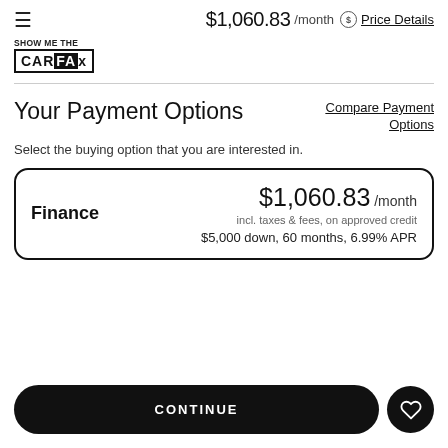$1,060.83 /month  Price Details
[Figure (logo): SHOW ME THE CARFAX logo — stylized 'CARFAX' in bold block letters with a checkered border]
Your Payment Options
Compare Payment Options
Select the buying option that you are interested in.
Finance
$1,060.83 /month
incl. taxes & fees, on approved credit
$5,000 down, 60 months, 6.99% APR
CONTINUE